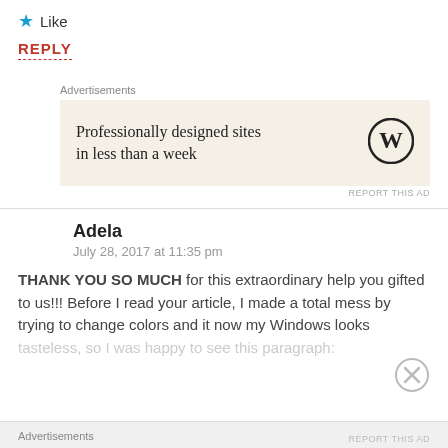★ Like
REPLY
Advertisements
[Figure (infographic): WordPress advertisement banner with text 'Professionally designed sites in less than a week' and WordPress logo on beige background]
REPORT THIS AD
Adela
July 28, 2017 at 11:35 pm
THANK YOU SO MUCH for this extraordinary help you gifted to us!!! Before I read your article, I made a total mess by trying to change colors and it now my Windows looks tasteless, so I was happy to see this paragraph:
Advertisements
REPORT THIS AD